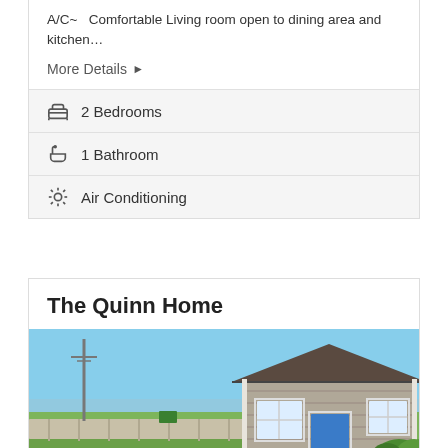A/C~  Comfortable Living room open to dining area and kitchen…
More Details ▶
🛏 2 Bedrooms
🛁 1 Bathroom
❄ Air Conditioning
The Quinn Home
[Figure (photo): Exterior photo of The Quinn Home, a Cape Cod-style shingle house with blue door, green lawn, fence, and blue sky in background.]